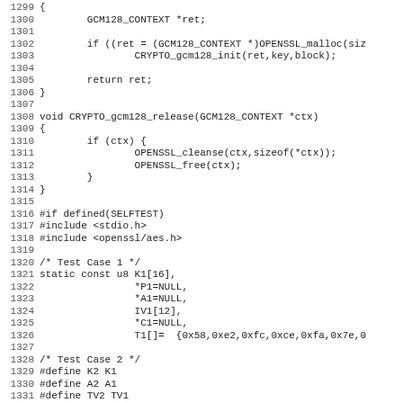[Figure (other): Source code listing in C showing lines 1299-1331 of a cryptographic library implementation, including GCM128_CONTEXT functions and test case definitions.]